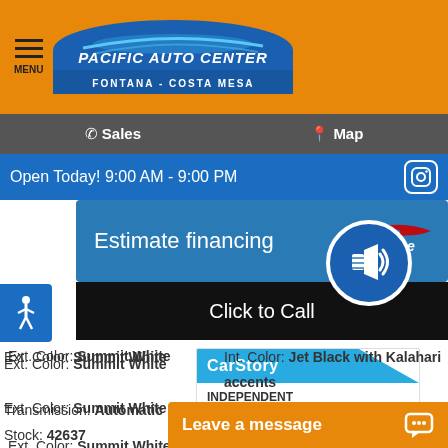[Figure (logo): Pacific Auto Center logo with FONTANA - COSTA MESA tagline on orange header background with hamburger menu icon]
Sales   Map
Open Today! 9:00 AM - 9:00 PM
Estimate financing
Click to Call
[Figure (logo): CarStory INDEPENDENT VEHICLE DATA logo]
Ext. Color: Summit White
Int. Color: Jet Black with Kalahari accents
Transmission: Automatic
Mileage: 8,285
Stock: 42637
Drivetrain: 4WD
Engine: 8 Cylinders
VIN 3GTP9EEL5LG12
Leave a message